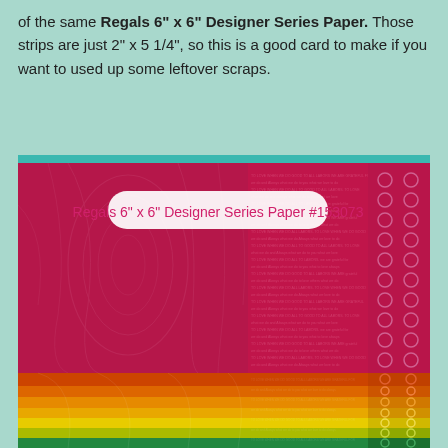of the same Regals 6" x 6" Designer Series Paper. Those strips are just 2" x 5 1/4", so this is a good card to make if you want to used up some leftover scraps.
[Figure (photo): Product image of Regals 6" x 6" Designer Series Paper #153073 showing stacked sheets of patterned paper in a spectrum of colors from crimson/magenta at top through orange, yellow, and green at bottom. The papers display three different patterns visible as columns: left column shows woodgrain/contour line pattern, middle column shows text/script pattern, right column shows polka dot pattern. A white rounded-rectangle label reads 'Regals 6" x 6" Designer Series Paper  #153073' in pink handwriting-style font.]